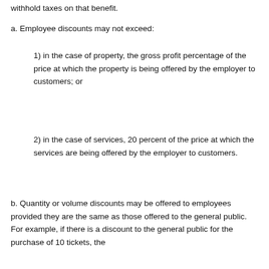withhold taxes on that benefit.
a. Employee discounts may not exceed:
1) in the case of property, the gross profit percentage of the price at which the property is being offered by the employer to customers; or
2) in the case of services, 20 percent of the price at which the services are being offered by the employer to customers.
b. Quantity or volume discounts may be offered to employees provided they are the same as those offered to the general public. For example, if there is a discount to the general public for the purchase of 10 tickets, the